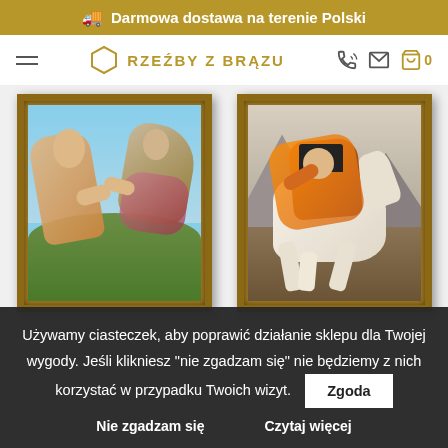🚚 Darmowa dostawa na terenie Polski
[Figure (screenshot): Navigation bar with hamburger menu, Rzeźby z Brązu logo with hexagon icon, and icons for phone, email, and cart (0 items)]
[Figure (photo): Two framed classic paintings: left shows Michelangelo's Creation of Adam, right shows Napoleon crossing the Alps on horseback]
Używamy ciasteczek, aby poprawić działanie sklepu dla Twojej wygody. Jeśli klikniesz "nie zgadzam się" nie będziemy z nich korzystać w przypadku Twoich wizyt.
Zgoda
Nie zgadzam się
Czytaj więcej